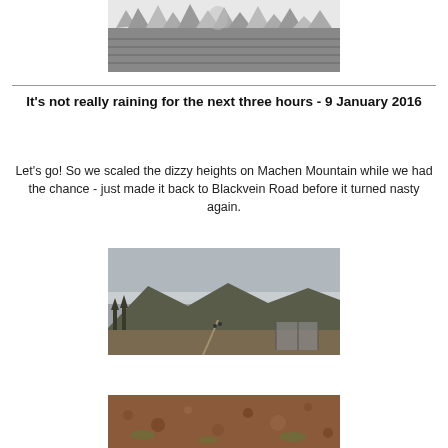[Figure (photo): Black and white photo of jagged rocky outcrops/limestone pavement from above]
It's not really raining for the next three hours - 9 January 2016
Let's go! So we scaled the dizzy heights on Machen Mountain while we had the chance - just made it back to Blackvein Road before it turned nasty again.
[Figure (photo): Colour photo of mountain landscape with dark cloudy sky, rolling hills, a path, walkers, and a fence/building in the foreground]
[Figure (photo): Partial photo showing reddish-brown rocky or heather-covered hillside]